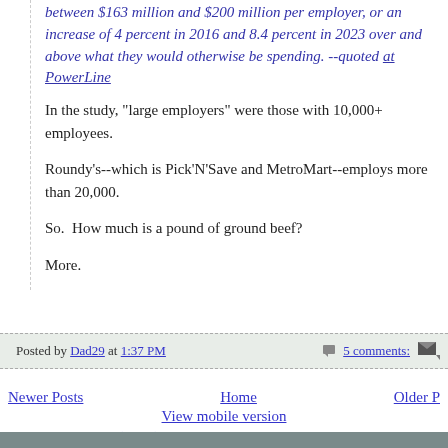between $163 million and $200 million per employer, or an increase of 4 percent in 2016 and 8.4 percent in 2023 over and above what they would otherwise be spending. --quoted at PowerLine
In the study, "large employers" were those with 10,000+ employees.
Roundy's--which is Pick'N'Save and MetroMart--employs more than 20,000.
So.  How much is a pound of ground beef?
More.
Posted by Dad29 at 1:37 PM   5 comments:
Newer Posts   Home   Older P
View mobile version
Subscribe to: Posts (Atom)